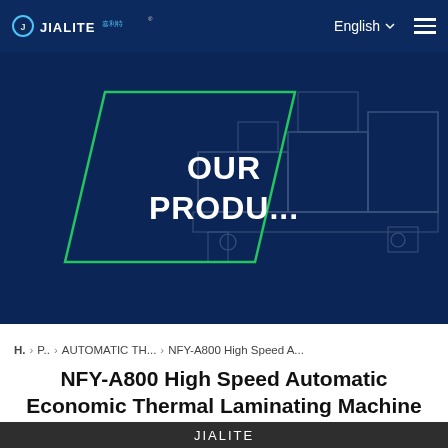[Figure (screenshot): JIALITE company logo with circular blue-green icon and Chinese characters on dark navy background navigation bar]
[Figure (screenshot): Hero banner section with dark navy background, green parallelogram outline shape, industrial laminating machine silhouette on right, centered text reading OUR PRODU...]
H. › P.. › AUTOMATIC TH... › NFY-A800 High Speed A...
NFY-A800 High Speed Automatic Economic Thermal Laminating Machine
[Figure (photo): Partial view of product images of the NFY-A800 laminating machine at the bottom of the page]
JIALITE